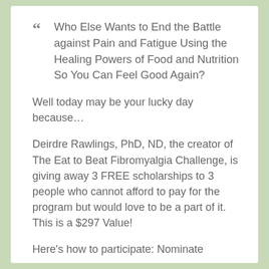Who Else Wants to End the Battle against Pain and Fatigue Using the Healing Powers of Food and Nutrition So You Can Feel Good Again?
Well today may be your lucky day because…
Deirdre Rawlings, PhD, ND, the creator of The Eat to Beat Fibromyalgia Challenge, is giving away 3 FREE scholarships to 3 people who cannot afford to pay for the program but would love to be a part of it. This is a $297 Value!
Here's how to participate: Nominate